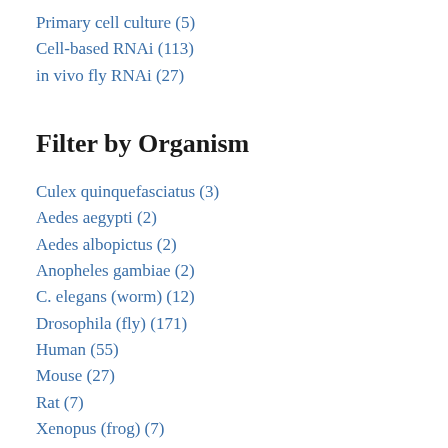Primary cell culture (5)
Cell-based RNAi (113)
in vivo fly RNAi (27)
Filter by Organism
Culex quinquefasciatus (3)
Aedes aegypti (2)
Aedes albopictus (2)
Anopheles gambiae (2)
C. elegans (worm) (12)
Drosophila (fly) (171)
Human (55)
Mouse (27)
Rat (7)
Xenopus (frog) (7)
Yeast (S. cerevisiae) (14)
Yeast (S. pombe) (7)
Zebrafish (11)